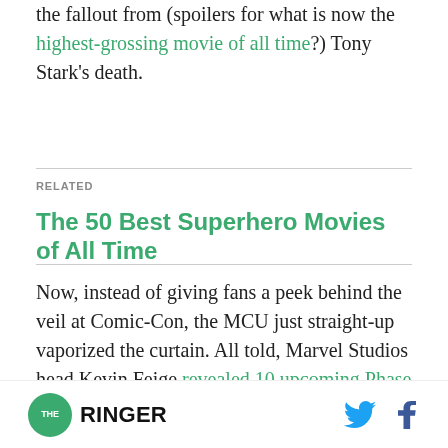the fallout from (spoilers for what is now the highest-grossing movie of all time?) Tony Stark's death.
RELATED
The 50 Best Superhero Movies of All Time
Now, instead of giving fans a peek behind the veil at Comic-Con, the MCU just straight-up vaporized the curtain. All told, Marvel Studios head Kevin Feige revealed 10 upcoming Phase 4 projects, both TV shows and movies, spread out over the next
THE RINGER